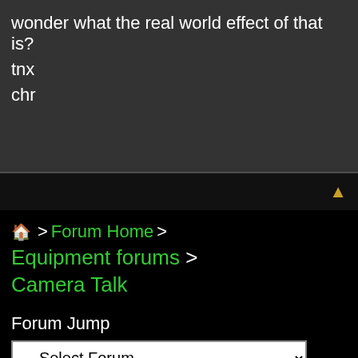wonder what the real world effect of that is?
tnx
chr
🏠 > Forum Home > Equipment forums > Camera Talk
Page 2 < 1 2 3 4 6 >
Forum Jump
-- Select Forum --
View in: Mobile | Classic